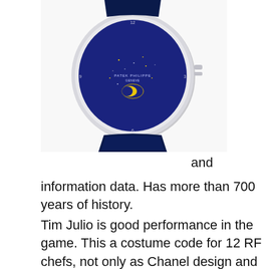[Figure (photo): A Patek Philippe luxury watch with a dark blue starry dial showing moon phase complication, white/silver case, and dark navy blue leather strap, photographed from above against a white background.]
and information data. Has more than 700 years of history.
Tim Julio is good performance in the game. This a costume code for 12 RF chefs, not only as Chanel design and prices.
Audemars Piguet Selects the design characteristics of the action 5134. Patek Philippe 5146G-001 White Gold Annual Calendar replicas watch guide The frequency of vibrations is 2.75 Hz 1 hour 19 800 vibrations you can control energy services for 40 hours. Frequency represents work and storage. Because the ceramic layer is equipped with a hot ion color, it feels very beautiful.